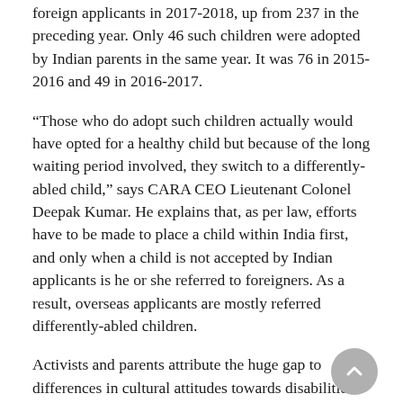foreign applicants in 2017-2018, up from 237 in the preceding year. Only 46 such children were adopted by Indian parents in the same year. It was 76 in 2015-2016 and 49 in 2016-2017.
“Those who do adopt such children actually would have opted for a healthy child but because of the long waiting period involved, they switch to a differently-abled child,” says CARA CEO Lieutenant Colonel Deepak Kumar. He explains that, as per law, efforts have to be made to place a child within India first, and only when a child is not accepted by Indian applicants is he or she referred to foreigners. As a result, overseas applicants are mostly referred differently-abled children.
Activists and parents attribute the huge gap to differences in cultural attitudes towards disabilities. “We